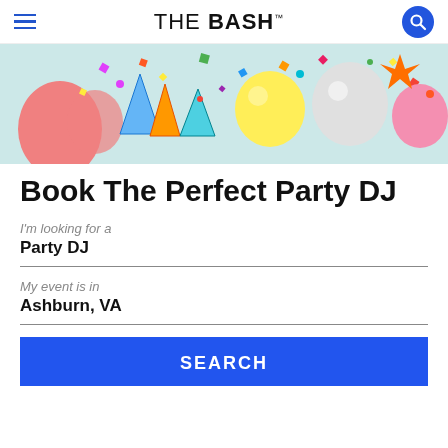The Bash™
[Figure (photo): Colorful party balloons, confetti, and party accessories on a light blue background]
Book The Perfect Party DJ
I'm looking for a
Party DJ
My event is in
Ashburn, VA
SEARCH